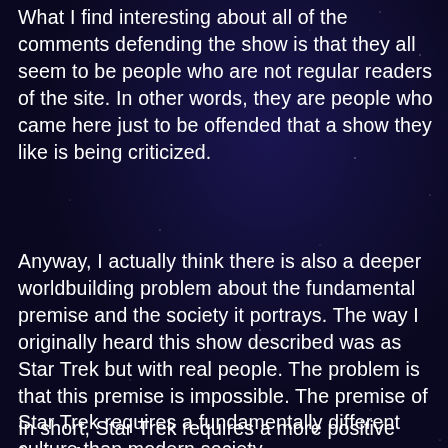What I find interesting about all of the comments defending the show is that they all seem to be people who are not regular readers of the site. In other words, they are people who came here just to be offended that a show they like is being criticized.
Anyway, I actually think there is also a deeper worldbuilding problem about the fundamental premise and the society it portrays. The way I originally heard this show described was as Star Trek but with real people. The problem is that this premise is impossible. The premise of Star Trek requires a fundamentally different culture than modern society.
In short, Star Trek requires a more positive form of